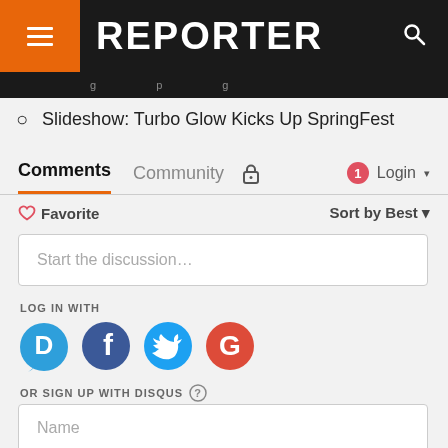REPORTER
Slideshow: Turbo Glow Kicks Up SpringFest
Comments  Community  Login
Favorite  Sort by Best
Start the discussion…
LOG IN WITH
[Figure (other): Social login icons: Disqus (blue speech bubble with D), Facebook (dark blue circle with f), Twitter (light blue circle with bird), Google (red circle with G)]
OR SIGN UP WITH DISQUS
Name